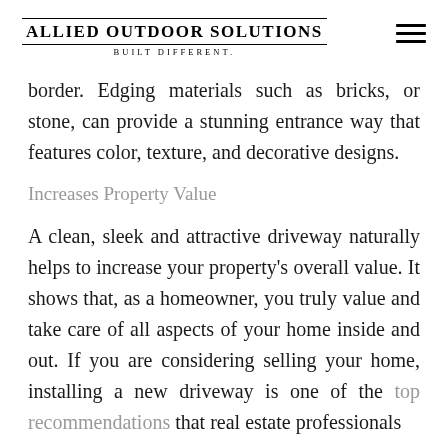Allied Outdoor Solutions — Built Different.
border. Edging materials such as bricks, or stone, can provide a stunning entrance way that features color, texture, and decorative designs.
Increases Property Value
A clean, sleek and attractive driveway naturally helps to increase your property's overall value. It shows that, as a homeowner, you truly value and take care of all aspects of your home inside and out. If you are considering selling your home, installing a new driveway is one of the top recommendations that real estate professionals